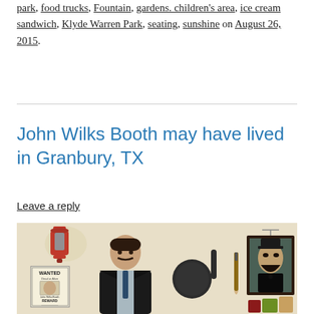park, food trucks, Fountain, gardens. children's area, ice cream sandwich, Klyde Warren Park, seating, sunshine on August 26, 2015.
John Wilks Booth may have lived in Granbury, TX
Leave a reply
[Figure (illustration): A painting depicting a man resembling John Wilkes Booth in a dark suit, with a WANTED reward poster, a red lantern, a portrait of Abraham Lincoln, a frying pan, a paintbrush, and various small items on a shelf.]